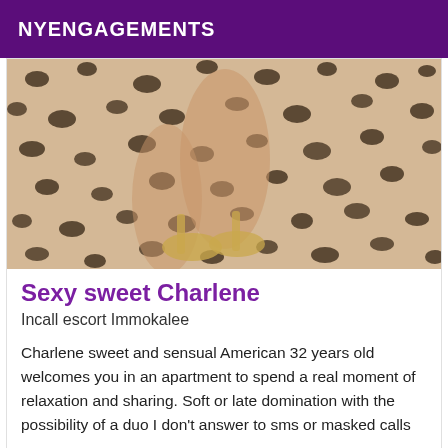NYENGAGEMENTS
[Figure (photo): Close-up photo of a person's legs and feet wearing gold strappy heels, dressed in a leopard print outfit.]
Sexy sweet Charlene
Incall escort Immokalee
Charlene sweet and sensual American 32 years old welcomes you in an apartment to spend a real moment of relaxation and sharing. Soft or late domination with the possibility of a duo I don't answer to sms or masked calls
[Figure (photo): Partial photo of an interior room, bottom of page, with a 'Verified' badge overlay.]